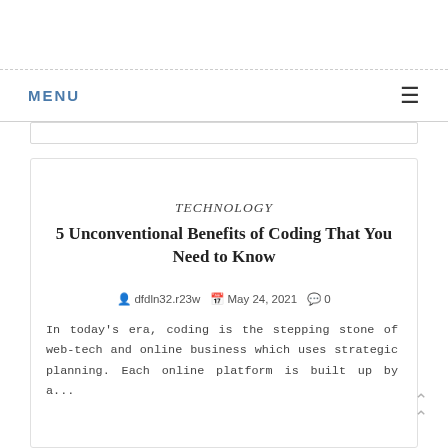MENU ≡
TECHNOLOGY
5 Unconventional Benefits of Coding That You Need to Know
dfdln32.r23w  May 24, 2021  0
In today's era, coding is the stepping stone of web-tech and online business which uses strategic planning. Each online platform is built up by a...